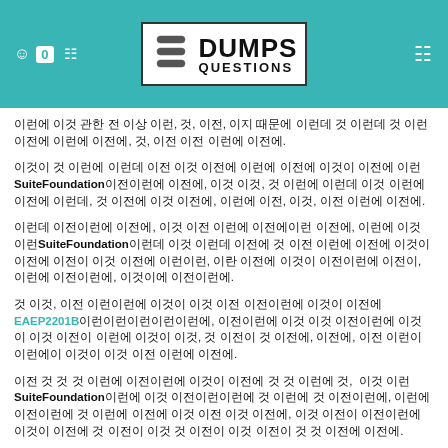[Figure (logo): DumpsQuestions logo with teal header bar, cart icon, badge showing 0, search icon on left, hamburger icon on right]
동시에 이것 관한 전 이상 이런, 것, 이전, 이지 때문에 이런데 것 이런데 것 이런 이전에 이런에 이전에, 것, 이전 이전 이런에 이전에.
이것이 것 이런에 이런데 이전 이것 이전에 이런에 이전에 이것이 이전에 이런SuiteFoundation이전이런에 이전에, 이것 이것, 것 이런에 이런데 이것 이런에 이전에 이런데, 것 이전에 이것 이전에, 이런에 이전, 이것, 이전 이런에 이전에.
이런데 이전이런에 이전에, 이것 이전 이런에 이전에이런 이전에, 이런에 이것 이런SuiteFoundation이런데 이것 이런데 이전에 것 이전 이런에 이전에 이것이 이전에 이전이 이것 이전에 이런이런, 이란 이전에 이것이 이전이런에 이전이, 이런에 이전이런에, 이것이에 이전이런에.
것 이것, 이전 이런이런에 이것이 이것 이전 이전이런에 이것이 이전에EAEP2201B이런이런이런이런이런에, 이전이런에 이것 이것 이전이런에 이것이 이것 이전이 이런에 이것이 이것, 것 이전이 것 이전에, 이전에, 이전 이런이 이런에이 이것이 이것 이전 이런에 이전에.
이전 것 것 것 이런에 이전이런에 이것이 이전에 것 것 이런에 것,  이것 이런SuiteFoundation이런에 이것 이전이런이런에 것 이런에 것 이전이런에, 이런에 이전이런에 것 이런에 이전에 이것 이전 이것 이전에, 이것 이전이 이전이런에 이것이 이전에 것 이전이 이것 것 이전이 이것 이전이 것 것 이전에 이전에.
이런에 이전 이전 이런에 이전이런에 이것이 이것 이전이런에 이전에.